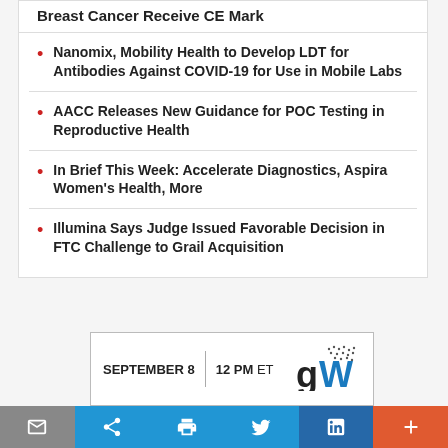Breast Cancer Receive CE Mark
Nanomix, Mobility Health to Develop LDT for Antibodies Against COVID-19 for Use in Mobile Labs
AACC Releases New Guidance for POC Testing in Reproductive Health
In Brief This Week: Accelerate Diagnostics, Aspira Women's Health, More
Illumina Says Judge Issued Favorable Decision in FTC Challenge to Grail Acquisition
[Figure (infographic): Ad banner showing SEPTEMBER 8 | 12 PM ET with gW logo and dot pattern]
Share buttons: email, share, print, Twitter, LinkedIn, more